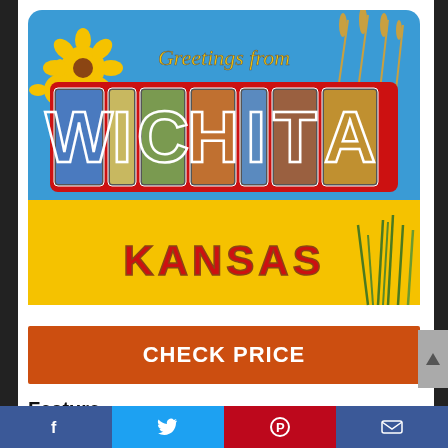[Figure (photo): Retro-style refrigerator magnet showing 'Greetings from Wichita Kansas' with large decorative letters, sunflowers, wheat, and city scenes on a yellow and blue background.]
CHECK PRICE
Feature
Size: 2 x 3 inches